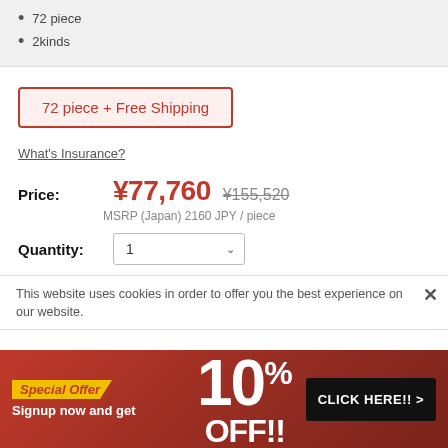72 piece
2kinds
72 piece + Free Shipping
What's Insurance?
Price: ¥77,760  ¥155,520  MSRP (Japan) 2160 JPY / piece
Quantity: 1
This website uses cookies in order to offer you the best experience on our website.
Special Offer  Signup now and get  10% OFF!!  CLICK HERE!! >